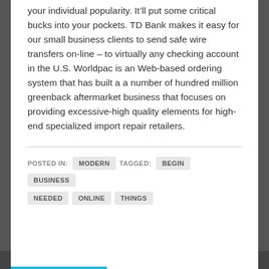your individual popularity. It'll put some critical bucks into your pockets. TD Bank makes it easy for our small business clients to send safe wire transfers on-line – to virtually any checking account in the U.S. Worldpac is an Web-based ordering system that has built a a number of hundred million greenback aftermarket business that focuses on providing excessive-high quality elements for high-end specialized import repair retailers.
POSTED IN: MODERN   TAGGED: BEGIN   BUSINESS   NEEDED   ONLINE   THINGS